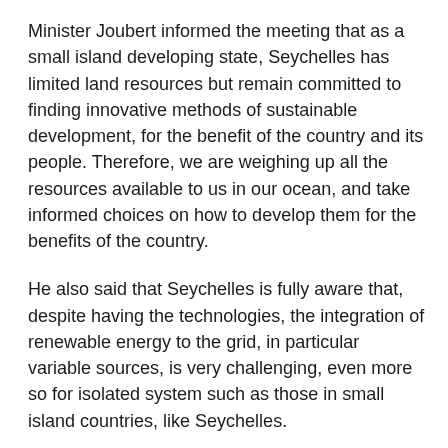Minister Joubert informed the meeting that as a small island developing state, Seychelles has limited land resources but remain committed to finding innovative methods of sustainable development, for the benefit of the country and its people. Therefore, we are weighing up all the resources available to us in our ocean, and take informed choices on how to develop them for the benefits of the country.
He also said that Seychelles is fully aware that, despite having the technologies, the integration of renewable energy to the grid, in particular variable sources, is very challenging, even more so for isolated system such as those in small island countries, like Seychelles.
Renewable energy projects and targets
He continued by saying that we must explore the